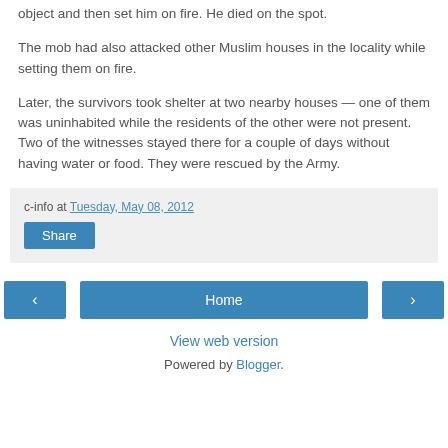object and then set him on fire. He died on the spot.
The mob had also attacked other Muslim houses in the locality while setting them on fire.
Later, the survivors took shelter at two nearby houses — one of them was uninhabited while the residents of the other were not present. Two of the witnesses stayed there for a couple of days without having water or food. They were rescued by the Army.
c-info at Tuesday, May 08, 2012
Share
‹
Home
›
View web version
Powered by Blogger.